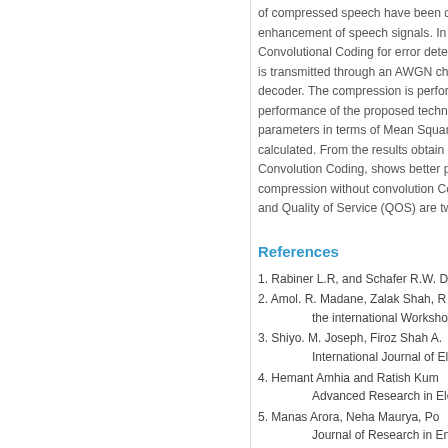of compressed speech have been de enhancement of speech signals. In th Convolutional Coding for error detecti is transmitted through an AWGN cha decoder. The compression is perfor performance of the proposed techniqu parameters in terms of Mean Square calculated. From the results obtain Convolution Coding, shows better p compression without convolution Co and Quality of Service (QOS) are two m
References
1. Rabiner L.R, and Schafer R.W. D
2. Amol. R. Madane, Zalak Shah, R the international Workshop on M
3. Shiyo. M. Joseph, Firoz Shah A. International Journal of Electrom
4. Hemant Amhia and Ratish Kum Advanced Research in Electrical
5. Manas Arora, Neha Maurya, Po Journal of Research in Engineer